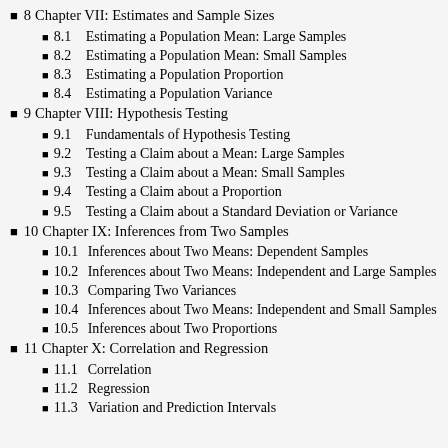8  Chapter VII: Estimates and Sample Sizes
8.1  Estimating a Population Mean: Large Samples
8.2  Estimating a Population Mean: Small Samples
8.3  Estimating a Population Proportion
8.4  Estimating a Population Variance
9  Chapter VIII: Hypothesis Testing
9.1  Fundamentals of Hypothesis Testing
9.2  Testing a Claim about a Mean: Large Samples
9.3  Testing a Claim about a Mean: Small Samples
9.4  Testing a Claim about a Proportion
9.5  Testing a Claim about a Standard Deviation or Variance
10  Chapter IX: Inferences from Two Samples
10.1  Inferences about Two Means: Dependent Samples
10.2  Inferences about Two Means: Independent and Large Samples
10.3  Comparing Two Variances
10.4  Inferences about Two Means: Independent and Small Samples
10.5  Inferences about Two Proportions
11  Chapter X: Correlation and Regression
11.1  Correlation
11.2  Regression
11.3  Variation and Prediction Intervals